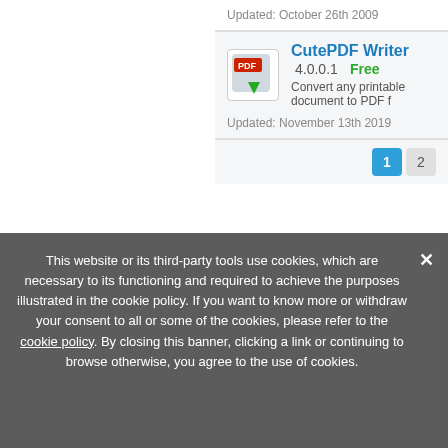Updated: October 26th 2009
CutePDF Writer 4.0.0.1 Free Convert any printable document to PDF
Updated: November 13th 2019
1 2
This website or its third-party tools use cookies, which are necessary to its functioning and required to achieve the purposes illustrated in the cookie policy. If you want to know more or withdraw your consent to all or some of the cookies, please refer to the cookie policy. By closing this banner, clicking a link or continuing to browse otherwise, you agree to the use of cookies.